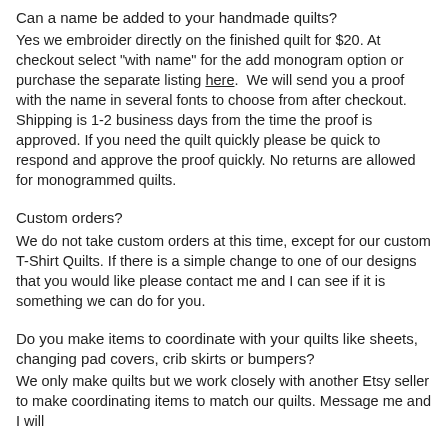Can a name be added to your handmade quilts?
Yes we embroider directly on the finished quilt for $20. At checkout select "with name" for the add monogram option or purchase the separate listing here.  We will send you a proof with the name in several fonts to choose from after checkout. Shipping is 1-2 business days from the time the proof is approved. If you need the quilt quickly please be quick to respond and approve the proof quickly. No returns are allowed for monogrammed quilts.
Custom orders?
We do not take custom orders at this time, except for our custom T-Shirt Quilts. If there is a simple change to one of our designs that you would like please contact me and I can see if it is something we can do for you.
Do you make items to coordinate with your quilts like sheets, changing pad covers, crib skirts or bumpers?
We only make quilts but we work closely with another Etsy seller to make coordinating items to match our quilts. Message me and I will